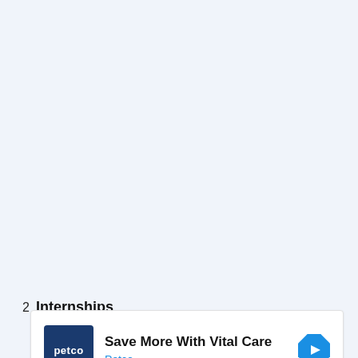2  Internships
[Figure (infographic): Advertisement banner for Petco 'Save More With Vital Care' promotion, showing Petco logo, headline text, brand name in blue, a blue diamond navigation arrow icon, and playback/close control icons.]